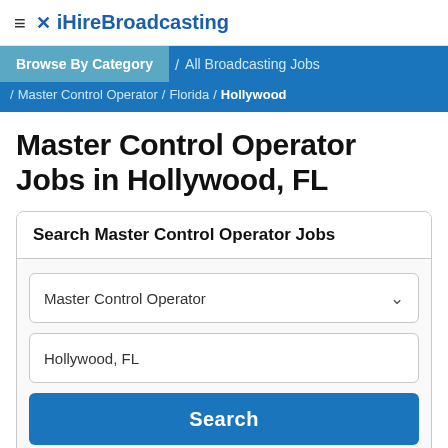≡ ✕ iHireBroadcasting
Browse By Category / All Broadcasting Jobs / Master Control Operator / Florida / Hollywood
Master Control Operator Jobs in Hollywood, FL
Search Master Control Operator Jobs
Master Control Operator
Hollywood, FL
Search